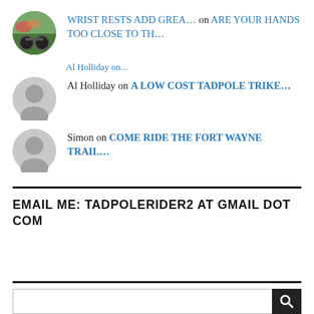WRIST RESTS ADD GREA… on ARE YOUR HANDS TOO CLOSE TO TH…
Al Holliday on A LOW COST TADPOLE TRIKE…
Simon on COME RIDE THE FORT WAYNE TRAIL…
EMAIL ME: TADPOLERIDER2 AT GMAIL DOT COM